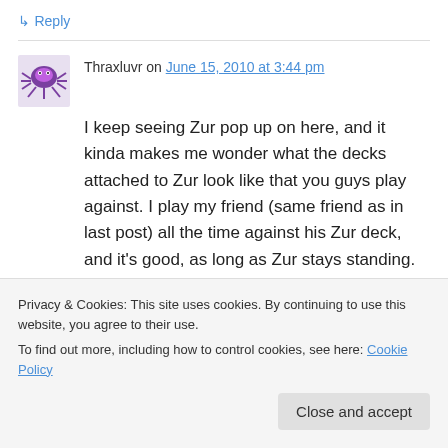↳ Reply
Thraxluvr on June 15, 2010 at 3:44 pm
I keep seeing Zur pop up on here, and it kinda makes me wonder what the decks attached to Zur look like that you guys play against. I play my friend (same friend as in last post) all the time against his Zur deck, and it's good, as long as Zur stays standing. But I've learned that the
Privacy & Cookies: This site uses cookies. By continuing to use this website, you agree to their use.
To find out more, including how to control cookies, see here: Cookie Policy